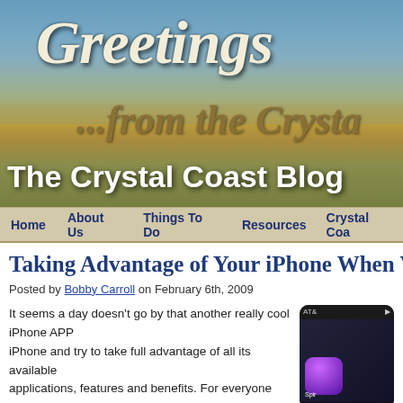[Figure (screenshot): The Crystal Coast Blog website header banner showing beach/dunes scene with cursive 'Greetings ...from the Crysta' text and bold white 'The Crystal Coast Blog' title overlay]
Home   About Us   Things To Do   Resources   Crystal Coa
Taking Advantage of Your iPhone When Visi
Posted by Bobby Carroll on February 6th, 2009
It seems a day doesn't go by that another really cool iPhone APP is released. I own an iPhone and try to take full advantage of all its available applications, features and benefits. For everyone who visits or lives on the Crystal Coast and especially in the town of Emerald Isle, I suggest you put to good use your iPhone the minute you arrive and select the "Nearby"